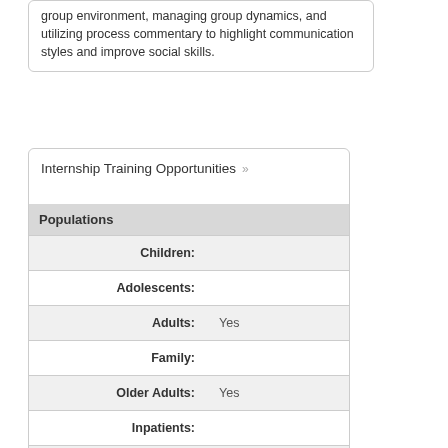group environment, managing group dynamics, and utilizing process commentary to highlight communication styles and improve social skills.
Internship Training Opportunities »
| Populations |  |
| --- | --- |
| Children: |  |
| Adolescents: |  |
| Adults: | Yes |
| Family: |  |
| Older Adults: | Yes |
| Inpatients: |  |
| Outpatients: |  |
| Geriatric/Older Adults: |  |